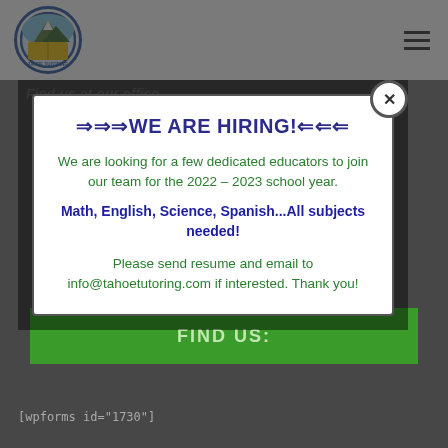[Figure (logo): Tahoe Tutoring circular logo with mountain and open book imagery, blue border]
⇒⇒⇒WE ARE HIRING!⇐⇐⇐
We are looking for a few dedicated educators to join our team for the 2022 – 2023 school year.
Math, English, Science, Spanish...All subjects needed!
Please send resume and email to info@tahoetutoring.com if interested. Thank you!
FIND US:
[wpforms id="1730"]